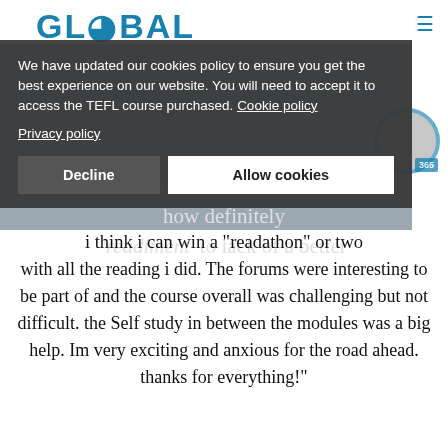GLOBAL
[Figure (screenshot): Cookie consent overlay on a TEFL course website with Decline and Allow cookies buttons]
i think i can win a "readathon" or two with all the reading i did. The forums were interesting to be part of and the course overall was challenging but not difficult. the Self study in between the modules was a big help. Im very exciting and anxious for the road ahead. thanks for everything!"
Dawood James
"This has been an amazing, yet at times challenging course but it